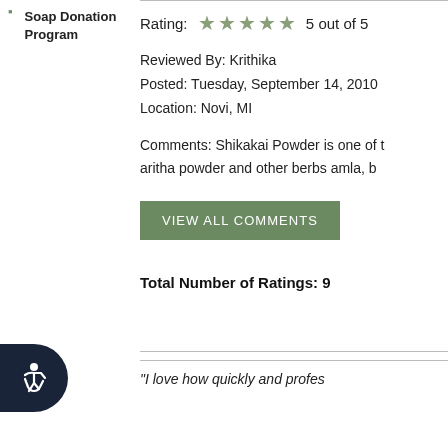Soap Donation Program
Rating: ★★★★★ 5 out of 5
Reviewed By: Krithika
Posted: Tuesday, September 14, 2010
Location: Novi, MI
Comments: Shikakai Powder is one of the aritha powder and other berbs amla, b...
VIEW ALL COMMENTS
Total Number of Ratings: 9
"I love how quickly and profes..."